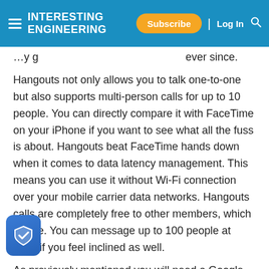INTERESTING ENGINEERING | Subscribe | Log In
…y g ever since.
Hangouts not only allows you to talk one-to-one but also supports multi-person calls for up to 10 people. You can directly compare it with FaceTime on your iPhone if you want to see what all the fuss is about. Hangouts beat FaceTime hands down when it comes to data latency management. This means you can use it without Wi-Fi connection over your mobile carrier data networks. Hangouts calls are completely free to other members, which is nice. You can message up to 100 people at once if you feel inclined as well.
As previously mentioned you will need a Google ID to Hangouts, but this shouldn't be an issue for most. With this function, you keep all your address books